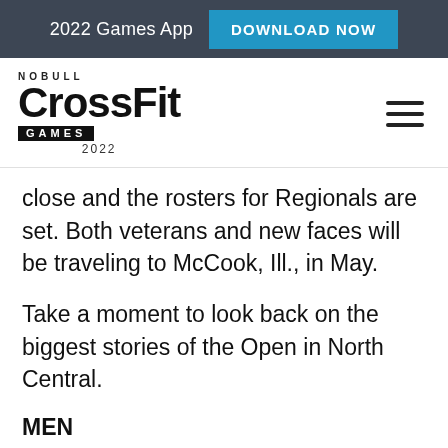2022 Games App  DOWNLOAD NOW
[Figure (logo): NOBULL CrossFit GAMES 2022 logo with hamburger menu icon]
close and the rosters for Regionals are set. Both veterans and new faces will be traveling to McCook, Ill., in May.
Take a moment to look back on the biggest stories of the Open in North Central.
MEN
Coming in 1st place is CrossFit Games veteran